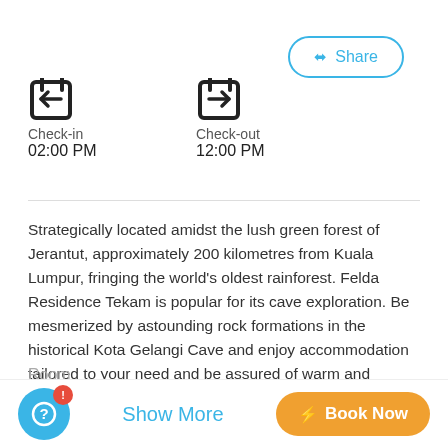Share
Check-in
02:00 PM
Check-out
12:00 PM
Strategically located amidst the lush green forest of Jerantut, approximately 200 kilometres from Kuala Lumpur, fringing the world's oldest rainforest. Felda Residence Tekam is popular for its cave exploration. Be mesmerized by astounding rock formations in the historical Kota Gelangi Cave and enjoy accommodation tailored to your need and be assured of warm and friendly hospitality.
Room
With capacity of 90 Rooms, ranging from Family Room, Deluxe
Show More
Book Now